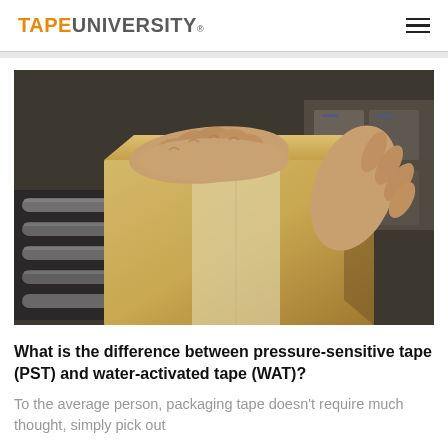TAPEUNIVERSITY®
[Figure (photo): Two hands pressing down on a cardboard box sealed with tape, on a conveyor roller in a warehouse/distribution setting.]
What is the difference between pressure-sensitive tape (PST) and water-activated tape (WAT)?
To the average person, packaging tape doesn't require much thought, simply pick out